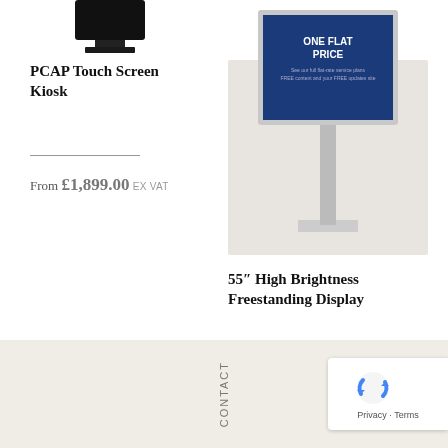[Figure (photo): PCAP Touch Screen Kiosk product image — dark black kiosk shape on white background]
PCAP Touch Screen Kiosk
From £1,899.00 ex VAT
[Figure (photo): 55 inch High Brightness Freestanding Display — tall freestanding display with blue screen showing ONE FLAT PRICE, mounted on silver stand with base]
55″ High Brightness Freestanding Display
£3,499.00 ex VAT
CONTACT
[Figure (logo): Google reCAPTCHA badge with circular arrow logo and Privacy · Terms links]